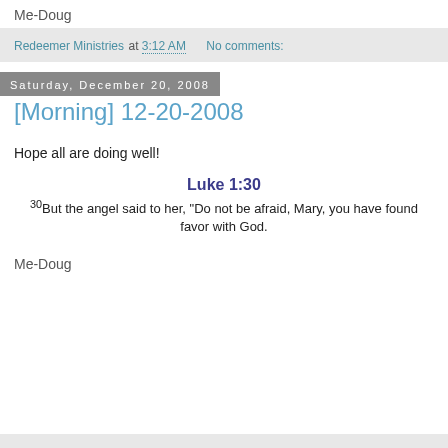Me-Doug
Redeemer Ministries at 3:12 AM   No comments:
Saturday, December 20, 2008
[Morning] 12-20-2008
Hope all are doing well!
Luke 1:30
30But the angel said to her, "Do not be afraid, Mary, you have found favor with God.
Me-Doug